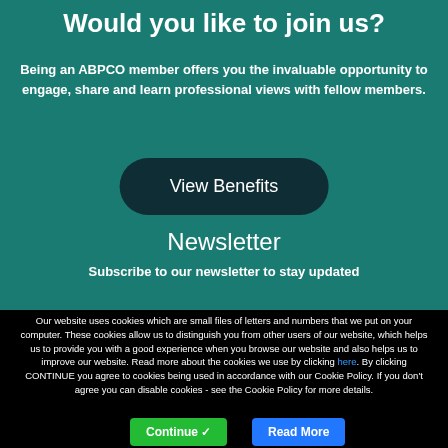Would you like to join us?
Being an ABPCO member offers you the invaluable opportunity to engage, share and learn professional views with fellow members.
View Benefits
Newsletter
Subscribe to our newsletter to stay updated
Our website uses cookies which are small files of letters and numbers that we put on your computer. These cookies allow us to distinguish you from other users of our website, which helps us to provide you with a good experience when you browse our website and also helps us to improve our website. Read more about the cookies we use by clicking here. By clicking CONTINUE you agree to cookies being used in accordance with our Cookie Policy. If you don't agree you can disable cookies - see the Cookie Policy for more details.
Continue ✓
Read More